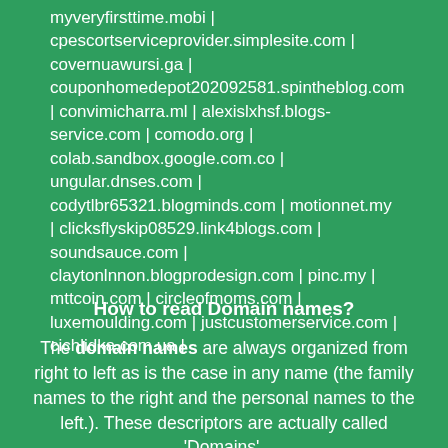myveryfirsttime.mobi | cpescortserviceprovider.simplesite.com | covernuawursi.ga | couponhomedepot202092581.spintheblog.com | convimicharra.ml | alexislxhsf.blogs-service.com | comodo.org | colab.sandbox.google.com.co | ungular.dnses.com | codytlbr65321.blogminds.com | motionnet.my | clicksflyskip08529.link4blogs.com | soundsauce.com | claytonlnnon.blogprodesign.com | pinc.my | mttcoin.com | circleofmoms.com | luxemoulding.com | justcustomerservice.com | cichlidka.com.ua |
How to read Domain names?
The domain names are always organized from right to left as is the case in any name (the family names to the right and the personal names to the left.). These descriptors are actually called 'Domains'.